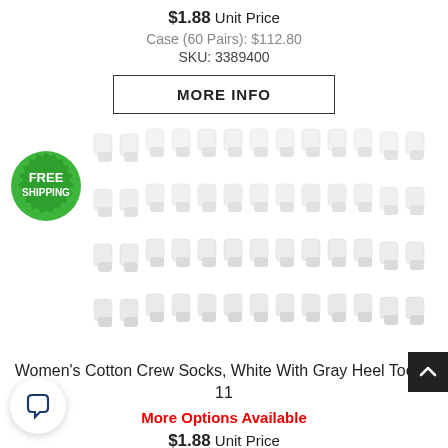$1.88 Unit Price
Case (60 Pairs): $112.80
SKU: 3389400
MORE INFO
[Figure (photo): Multiple rows of white cotton crew socks with a green 'FREE SHIPPING' badge in the top-left corner]
Women's Cotton Crew Socks, White With Gray Heel Toe 9-11
More Options Available
$1.88 Unit Price